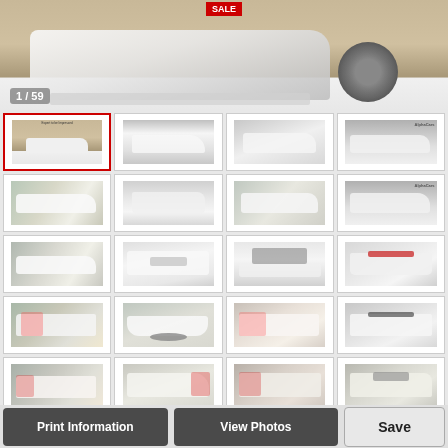[Figure (photo): Main large photo of a white Subaru WRX/STI sedan, front quarter view, with a red SALE banner visible, at a car dealership]
1 / 59
[Figure (photo): Grid of 20 thumbnail photos of a white Subaru WRX STI sedan from various angles including front, rear, side, and detail shots at Alpha Cars dealership. First thumbnail is selected with red border.]
Print Information
View Photos
Save